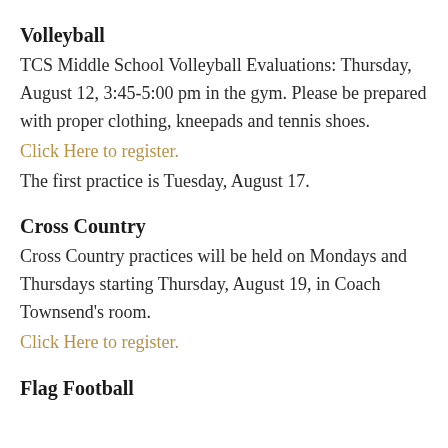Volleyball
TCS Middle School Volleyball Evaluations: Thursday, August 12, 3:45-5:00 pm in the gym. Please be prepared with proper clothing, kneepads and tennis shoes.
Click Here to register.
The first practice is Tuesday, August 17.
Cross Country
Cross Country practices will be held on Mondays and Thursdays starting Thursday, August 19, in Coach Townsend's room.
Click Here to register.
Flag Football